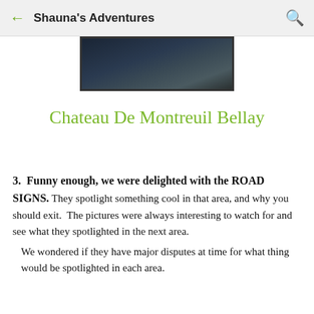Shauna's Adventures
[Figure (photo): Partial view of a road/path photograph, dark blue-toned outdoor scene, shown cropped at top of page]
Chateau De Montreuil Bellay
3.  Funny enough, we were delighted with the ROAD SIGNS. They spotlight something cool in that area, and why you should exit.  The pictures were always interesting to watch for and see what they spotlighted in the next area.

We wondered if they have major disputes at time for what thing would be spotlighted in each area.